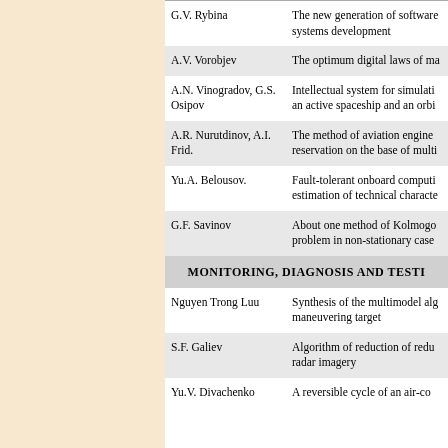| Author | Title |
| --- | --- |
| G.V. Rybina | The new generation of software systems development |
| A.V. Vorobjev | The optimum digital laws of ma... |
| A.N. Vinogradov, G.S. Osipov | Intellectual system for simulati... an active spaceship and an orbi... |
| A.R. Nurutdinov, A.I. Frid. | The method of aviation engine reservation on the base of multi... |
| Yu.A. Belousov. | Fault-tolerant onboard computi... estimation of technical characte... |
| G.F. Savinov | About one method of Kolmogo... problem in non-stationary case ... |
| SECTION | MONITORING, DIAGNOSIS AND TESTI... |
| Nguyen Trong Luu | Synthesis of the multimodel alg... maneuvering target |
| S.F. Galiev | Algorithm of reduction of redu... radar imagery |
| Yu.V. Divachenko | A reversible cycle of an air-co... |